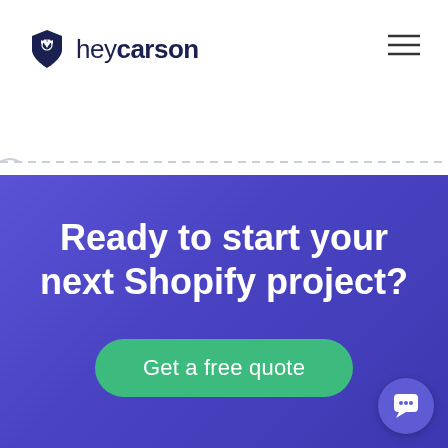[Figure (logo): heycarson logo with tuxedo shield icon and text 'heycarson']
[Figure (other): Hamburger menu icon (three horizontal lines) in top right]
[Figure (other): Dashed horizontal line divider across page width]
Ready to start your next Shopify project?
Get a free quote
[Figure (other): Chat bubble widget icon, circular purple button in bottom right]